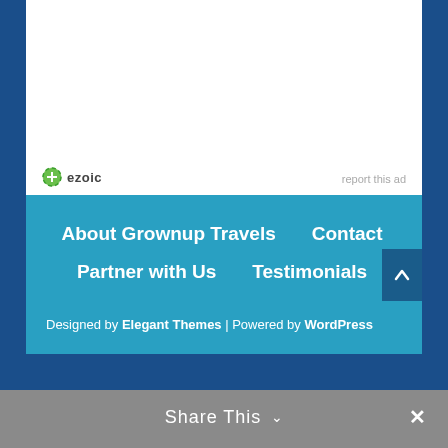[Figure (other): Ezoic ad placeholder - white rectangle with ezoic logo and 'report this ad' link at bottom]
About Grownup Travels   Contact   Partner with Us   Testimonials
Designed by Elegant Themes | Powered by WordPress
Share This ✓ ✕